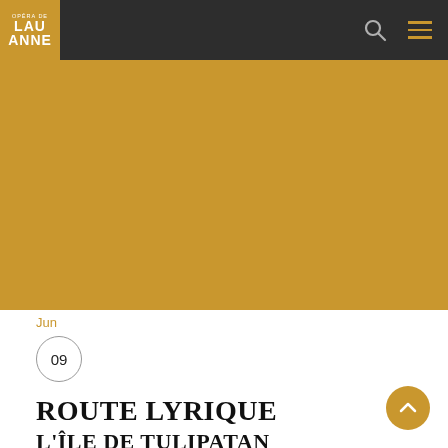Opéra de Lausanne — navigation bar with logo, search and menu icons
[Figure (photo): Large gold/ochre colored background image area for the opera production]
Jun
09
ROUTE LYRIQUE
L'ÎLE DE TULIPATAN
JACQUES OFFENBACH (1819-1880)